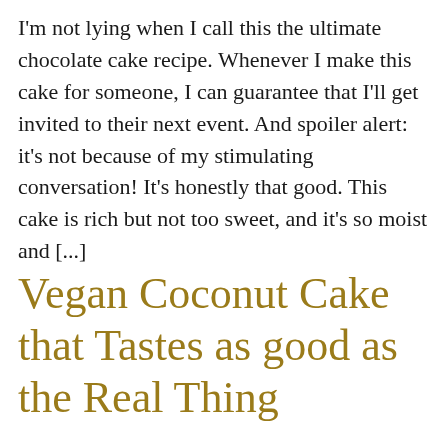I'm not lying when I call this the ultimate chocolate cake recipe. Whenever I make this cake for someone, I can guarantee that I'll get invited to their next event. And spoiler alert: it's not because of my stimulating conversation! It's honestly that good. This cake is rich but not too sweet, and it's so moist and [...]
Vegan Coconut Cake that Tastes as good as the Real Thing